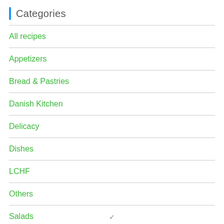Categories
All recipes
Appetizers
Bread & Pastries
Danish Kitchen
Delicacy
Dishes
LCHF
Others
Salads